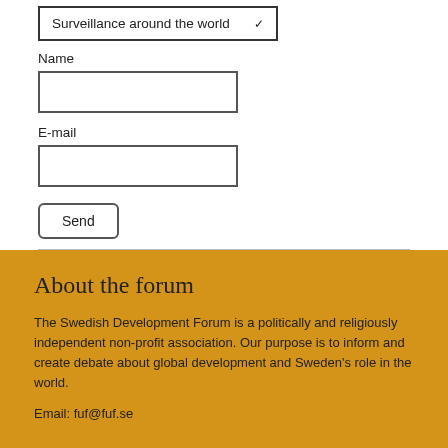Surveillance around the world
Name
E-mail
Send
About the forum
The Swedish Development Forum is a politically and religiously independent non-profit association. Our purpose is to inform and create debate about global development and Sweden's role in the world.
Email: fuf@fuf.se